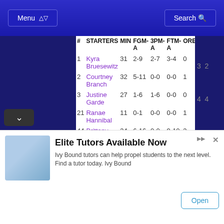Menu | Search
| # | STARTERS | MIN | FGM-A | 3PM-A | FTM-A | ORE | BDR | EBRE | BAS | T |
| --- | --- | --- | --- | --- | --- | --- | --- | --- | --- | --- |
| 1 | Kyra Bruesewitz | 31 | 2-9 | 2-7 | 3-4 | 0 | 3 | 3 | 2 |  |
| 2 | Courtney Branch | 32 | 5-11 | 0-0 | 0-0 | 1 | 3 | 4 | 4 |  |
| 3 | Justine Garde | 27 | 1-6 | 1-6 | 0-0 | 0 | 0 | 0 | 2 |  |
| 21 | Ranae Hannibal | 11 | 0-1 | 0-0 | 0-0 | 1 | 1 | 2 | 0 |  |
| 44 | Brittany Gafare | 34 | 6-16 | 0-0 | 9-10 | 3 | 9 | 12 | 2 |  |
| # | RESERVES | MIN | FGM-A | 3PM-A | FTM-A | ORE | BDR | EBRE | BAS | T |
| --- | --- | --- | --- | --- | --- | --- | --- | --- | --- | --- |
Elite Tutors Available Now — Ivy Bound tutors can help propel students to the next level. Find a tutor today. Ivy Bound